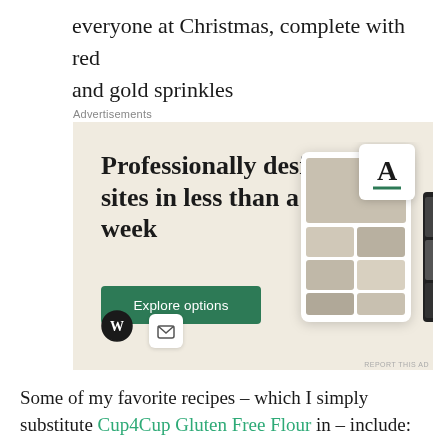everyone at Christmas, complete with red and gold sprinkles
Advertisements
[Figure (other): WordPress advertisement banner with beige background. Large serif headline reads 'Professionally designed sites in less than a week'. Green 'Explore options' button. WordPress logo at bottom left. Mockup screenshots of website designs on the right side.]
Some of my favorite recipes – which I simply substitute Cup4Cup Gluten Free Flour in – include: